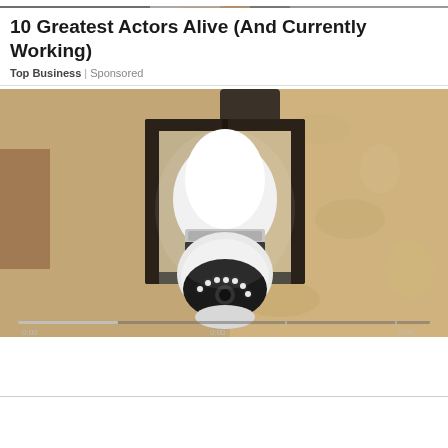[Figure (photo): Partial photo strip at the very top of the page, showing a cropped human figure in dark tones]
10 Greatest Actors Alive (And Currently Working)
Top Business | Sponsored
[Figure (photo): Photograph of a black wall-mounted outdoor lantern light fixture with a white smart security camera bulb installed inside it, mounted on a textured stucco wall. A video progress bar is visible at the bottom of the image.]